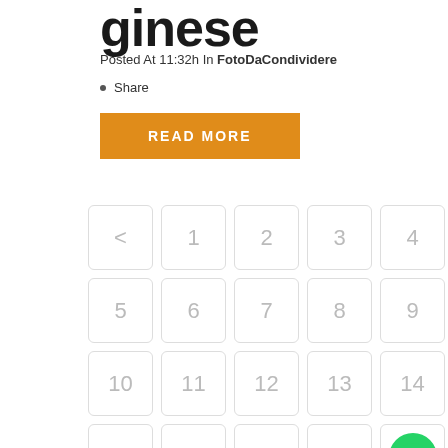ginese
Posted At 11:32h In FotoDaCondividere
Share
READ MORE
[Figure (other): Pagination widget with navigation arrow and numbered page buttons: <, 1, 2, 3, 4, 5, 6, 7, 8, 9, 10, 11, 12, 13, 14, 15, 16, 17, 18, [WhatsApp icon], 20, 21, 22, 23, 24]